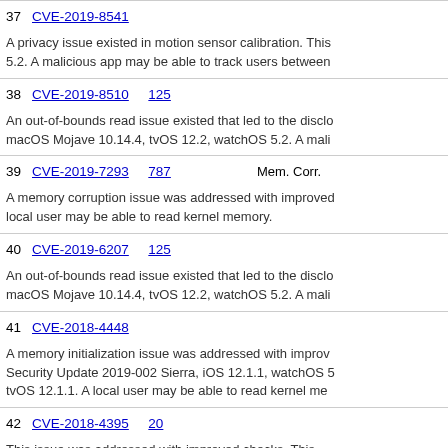37 CVE-2019-8541
A privacy issue existed in motion sensor calibration. This 5.2. A malicious app may be able to track users between
38 CVE-2019-8510  125
An out-of-bounds read issue existed that led to the disclo macOS Mojave 10.14.4, tvOS 12.2, watchOS 5.2. A mali
39 CVE-2019-7293  787  Mem. Corr.
A memory corruption issue was addressed with improve local user may be able to read kernel memory.
40 CVE-2019-6207  125
An out-of-bounds read issue existed that led to the disclo macOS Mojave 10.14.4, tvOS 12.2, watchOS 5.2. A mali
41 CVE-2018-4448
A memory initialization issue was addressed with improv Security Update 2019-002 Sierra, iOS 12.1.1, watchOS 5 tvOS 12.1.1. A local user may be able to read kernel me
42 CVE-2018-4395  20
This issue was addressed with improved checks. This